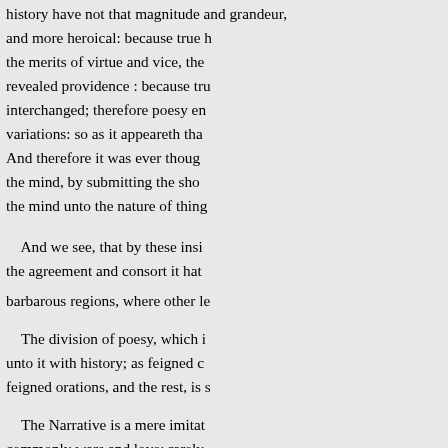history have not that magnitude and grandeur, and more heroical: because true history representeth the merits of virtue and vice, the severities of revealed providence : because truth of history is interchanged; therefore poesy endeth in most just variations: so as it appeareth that poesy serveth. And therefore it was ever thought to have some participation of divineness, because it doth raise and erect the mind, by submitting the shows of things to the desires of the mind, whereas reason doth buckle and bow the mind unto the nature of things.
And we see, that by these insinuations and congruities, the agreement and consort it hath with music; and that it was ever thought barbarous regions, where other learning was utterly excluded.
The division of poesy, which is aptest and most according unto it with history; as feigned chronicles, feigned lives, feigned epistles, feigned orations, and the rest, is not laboured.
The Narrative is a mere imitation of history, with the excesses of commonly wars and love; rarely state, and sometimes pleasure and mirth.
Representative is as a visible history; and is an image of actions in nature as they are, that is in some sort more busied.
Allusive or parabolical, is a narration applied only to express some special purpose or conceit. Which latter kind of parabolical wisdom,